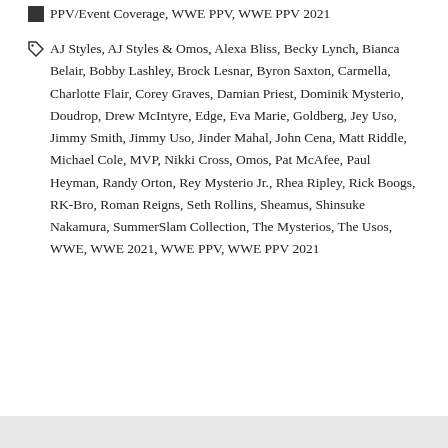PPV/Event Coverage, WWE PPV, WWE PPV 2021
AJ Styles, AJ Styles & Omos, Alexa Bliss, Becky Lynch, Bianca Belair, Bobby Lashley, Brock Lesnar, Byron Saxton, Carmella, Charlotte Flair, Corey Graves, Damian Priest, Dominik Mysterio, Doudrop, Drew McIntyre, Edge, Eva Marie, Goldberg, Jey Uso, Jimmy Smith, Jimmy Uso, Jinder Mahal, John Cena, Matt Riddle, Michael Cole, MVP, Nikki Cross, Omos, Pat McAfee, Paul Heyman, Randy Orton, Rey Mysterio Jr., Rhea Ripley, Rick Boogs, RK-Bro, Roman Reigns, Seth Rollins, Sheamus, Shinsuke Nakamura, SummerSlam Collection, The Mysterios, The Usos, WWE, WWE 2021, WWE PPV, WWE PPV 2021